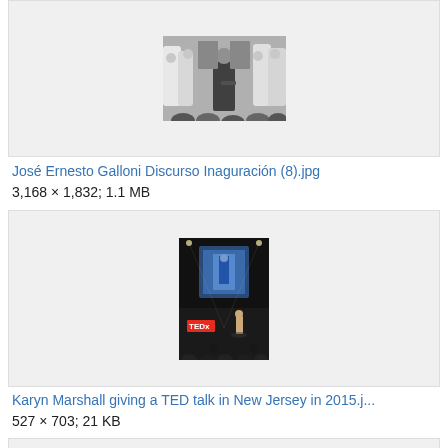[Figure (photo): Black and white photo of José Ernesto Galloni giving an inauguration speech, surrounded by people in white robes]
José Ernesto Galloni Discurso Inaguración (8).jpg
3,168 × 1,832; 1.1 MB
[Figure (photo): Dark photo of Karyn Marshall giving a TED talk on stage in New Jersey in 2015, with TEDx branding visible and a projection screen in the background]
Karyn Marshall giving a TED talk in New Jersey in 2015.j...
527 × 703; 21 KB